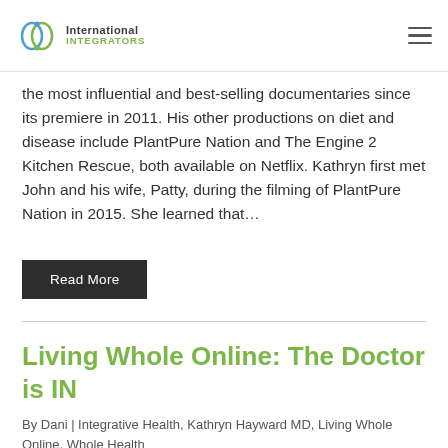International Integrators
the most influential and best-selling documentaries since its premiere in 2011. His other productions on diet and disease include PlantPure Nation and The Engine 2 Kitchen Rescue, both available on Netflix. Kathryn first met John and his wife, Patty, during the filming of PlantPure Nation in 2015. She learned that…
Read More
Living Whole Online: The Doctor is IN
By Dani | Integrative Health, Kathryn Hayward MD, Living Whole Online, Whole Health